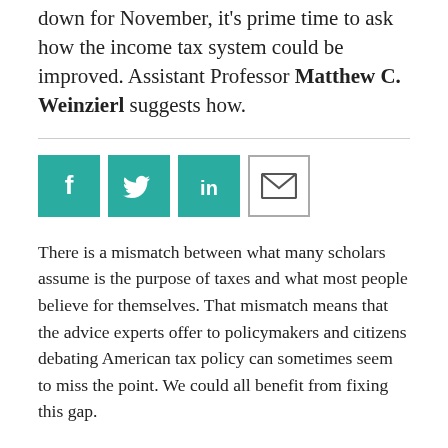down for November, it's prime time to ask how the income tax system could be improved. Assistant Professor Matthew C. Weinzierl suggests how.
[Figure (other): Social sharing icons: Facebook (teal), Twitter (teal), LinkedIn (teal), Email (white with border)]
There is a mismatch between what many scholars assume is the purpose of taxes and what most people believe for themselves. That mismatch means that the advice experts offer to policymakers and citizens debating American tax policy can sometimes seem to miss the point. We could all benefit from fixing this gap.
For 40 years, economists have drawn from the well of